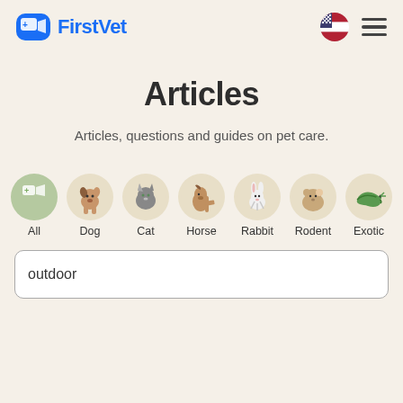FirstVet
Articles
Articles, questions and guides on pet care.
[Figure (illustration): Category filter icons in circles: All (active/green with FirstVet logo), Dog, Cat, Horse, Rabbit, Rodent, Exotic]
outdoor